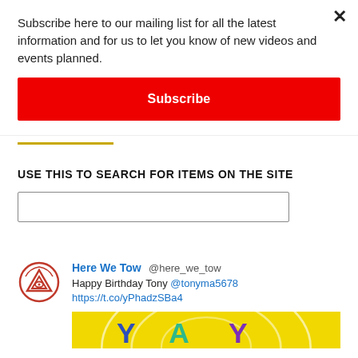Subscribe here to our mailing list for all the latest information and for us to let you know of new videos and events planned.
Subscribe
USE THIS TO SEARCH FOR ITEMS ON THE SITE
[Figure (screenshot): Empty search input box]
[Figure (screenshot): Twitter card showing Here We Tow @here_we_tow account with avatar logo (circular eye/mountain design in red), tweet text: Happy Birthday Tony @tonyma5678 https://t.co/yPhadzSBa4, and a yellow birthday image strip at the bottom with colorful YAY letters]
Here We Tow @here_we_tow — Happy Birthday Tony @tonyma5678 https://t.co/yPhadzSBa4